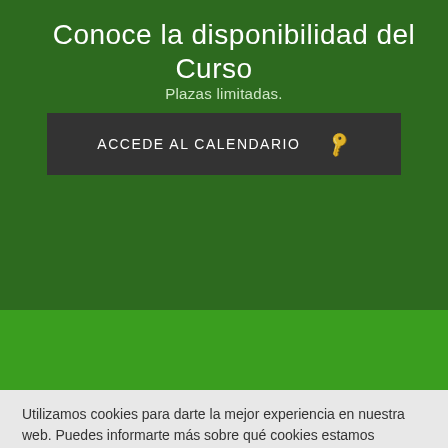Conoce la disponibilidad del Curso
Plazas limitadas.
[Figure (screenshot): Dark button with text ACCEDE AL CALENDARIO and a key icon]
Utilizamos cookies para darte la mejor experiencia en nuestra web. Puedes informarte más sobre qué cookies estamos utilizando o desactivarlas en los AJUSTES.
AJUSTES   ACEPTO TODO